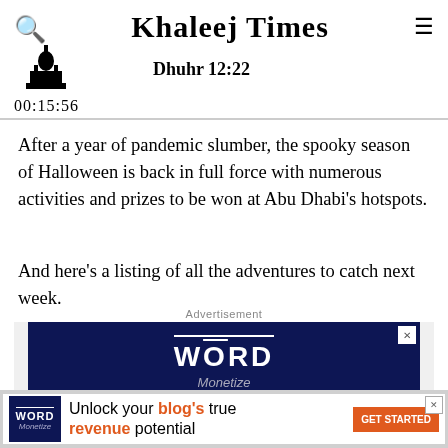Khaleej Times — Dhuhr 12:22 — 00:15:56
After a year of pandemic slumber, the spooky season of Halloween is back in full force with numerous activities and prizes to be won at Abu Dhabi's hotspots.
And here's a listing of all the adventures to catch next week.
[Figure (other): Advertisement banner for WORD Monetize — dark navy blue background with WORD logo in white text]
[Figure (other): Bottom advertisement banner: WORD Monetize logo, text 'Unlock your blog's true revenue potential', orange GET STARTED button]